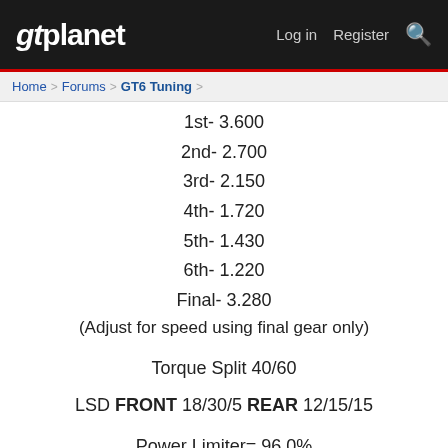gtplanet  Log in  Register
Home > Forums > GT6 Tuning >
1st- 3.600
2nd- 2.700
3rd- 2.150
4th- 1.720
5th- 1.430
6th- 1.220
Final- 3.280
(Adjust for speed using final gear only)
Torque Split 40/60
LSD FRONT 18/30/5 REAR 12/15/15
Power Limiter= 96.0%
Ballast- 200 @ 50